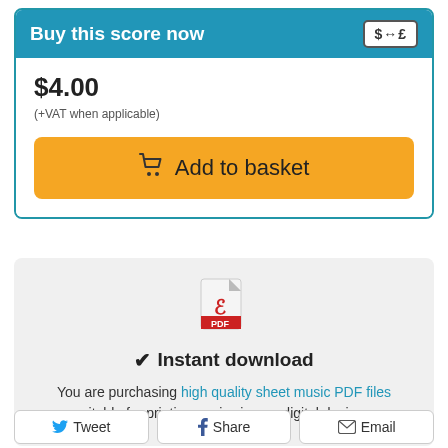Buy this score now
$4.00
(+VAT when applicable)
Add to basket
[Figure (illustration): PDF file icon with red Adobe-style symbol and PDF label]
✔ Instant download
You are purchasing high quality sheet music PDF files suitable for printing or viewing on digital devices.
Tweet
Share
Email